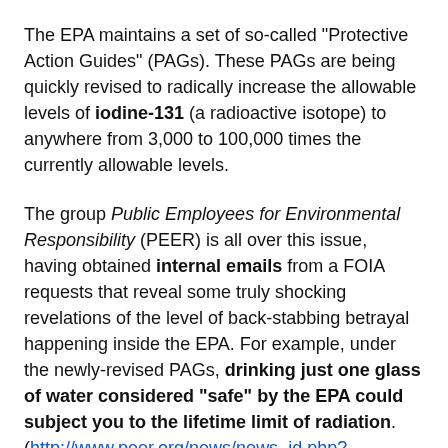The EPA maintains a set of so-called "Protective Action Guides" (PAGs). These PAGs are being quickly revised to radically increase the allowable levels of iodine-131 (a radioactive isotope) to anywhere from 3,000 to 100,000 times the currently allowable levels.
The group Public Employees for Environmental Responsibility (PEER) is all over this issue, having obtained internal emails from a FOIA requests that reveal some truly shocking revelations of the level of back-stabbing betrayal happening inside the EPA. For example, under the newly-revised PAGs, drinking just one glass of water considered "safe" by the EPA could subject you to the lifetime limit of radiation. (http://www.peer.org/news/news_id.php?row_id=...)
"In addition," PEER goes on to say, "it would allow long-term